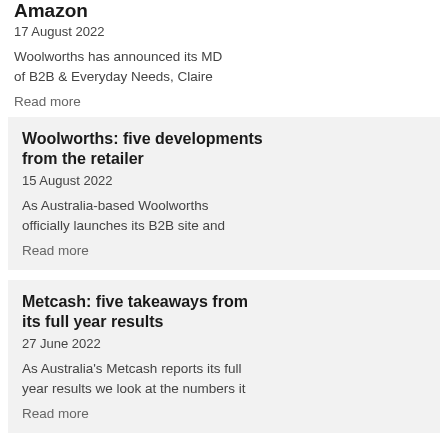Amazon
17 August 2022
Woolworths has announced its MD of B2B & Everyday Needs, Claire
Read more
Woolworths: five developments from the retailer
15 August 2022
As Australia-based Woolworths officially launches its B2B site and
Read more
Metcash: five takeaways from its full year results
27 June 2022
As Australia's Metcash reports its full year results we look at the numbers it
Read more